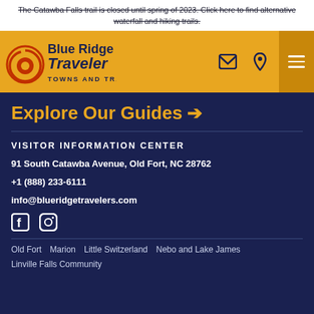The Catawba Falls trail is closed until spring of 2023. Click here to find alternative waterfall and hiking trails.
[Figure (logo): Blue Ridge Traveler Towns and Trails logo with spiral icon in red/orange on gold/yellow navbar background]
Explore Our Guides →
VISITOR INFORMATION CENTER
91 South Catawba Avenue, Old Fort, NC 28762
+1 (888) 233-6111
info@blueridgetravelers.com
[Figure (infographic): Facebook and Instagram social media icons in white]
Old Fort   Marion   Little Switzerland   Nebo and Lake James
Linville Falls Community